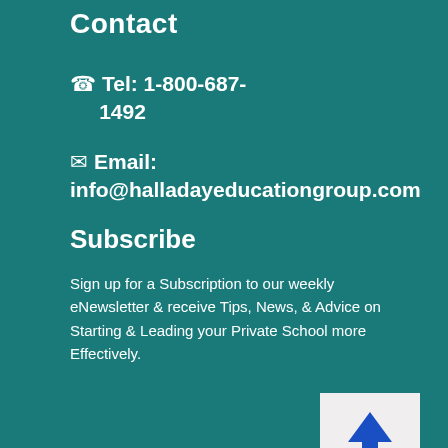Contact
☎ Tel: 1-800-687-1492
✉ Email: info@halladayeducationgroup.com
Subscribe
Sign up for a Subscription to our weekly eNewsletter & receive Tips, News, & Advice on Starting & Leading your Private School more Effectively.
Email Address *
CAPTCHA
This question is for testing whether or not you are a human visitor and to prevent automated spam
[Figure (other): TO TOP button with upward blue arrow]